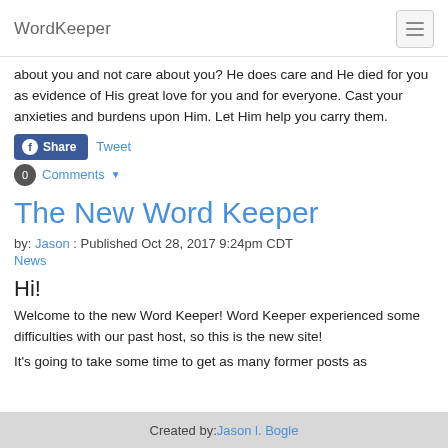WordKeeper
about you and not care about you? He does care and He died for you as evidence of His great love for you and for everyone. Cast your anxieties and burdens upon Him. Let Him help you carry them.
Share   Tweet   0 Comments
The New Word Keeper
by: Jason : Published Oct 28, 2017 9:24pm CDT
News
Hi!
Welcome to the new Word Keeper! Word Keeper experienced some difficulties with our past host, so this is the new site!
It's going to take some time to get as many former posts as
Created by: Jason l. Bogle